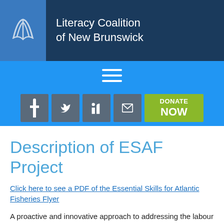[Figure (logo): Literacy Coalition of New Brunswick logo with book/wave icon on blue tab and organization name in white text on dark navy background]
[Figure (infographic): Blue navigation bar with white hamburger menu icon (three horizontal lines)]
[Figure (infographic): Social media icon bar with four grey square icons and a green DONATE NOW button]
Description of ESAF Project
Click here to see a PDF of the Essential Skills for Atlantic Fisheries Flyer
A proactive and innovative approach to addressing the labour